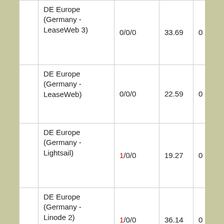|  | Location | Errors/Timeouts/Down | Response Time | Score |
| --- | --- | --- | --- | --- |
|  | DE Europe (Germany - LeaseWeb 3) | 0/0/0 | 33.69 | 0 |
|  | DE Europe (Germany - LeaseWeb) | 0/0/0 | 22.59 | 0 |
|  | DE Europe (Germany - Lightsail) | 1/0/0 | 19.27 | 0 |
|  | DE Europe (Germany - Linode 2) | 1/0/0 | 36.14 | 0 |
|  | DE Europe (Germany - Linode 3) | 0/0/0 | 79.43 | 0 |
|  | DE Europe (Germany - Linode) | 0/0/0 | 22.68 | 0 |